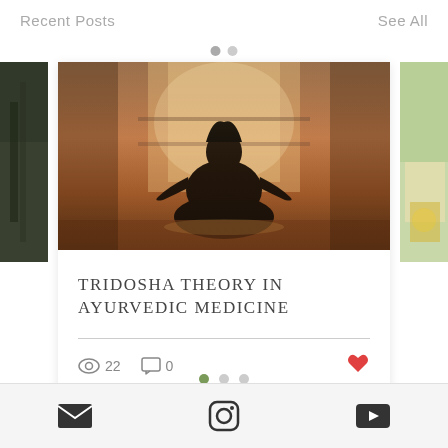Recent Posts
See All
[Figure (photo): Person sitting in meditation yoga pose with backlit warm glow, silhouette against window]
TRIDOSHA THEORY IN AYURVEDIC MEDICINE
22 views, 0 comments, like button
Social icons: email, instagram, youtube